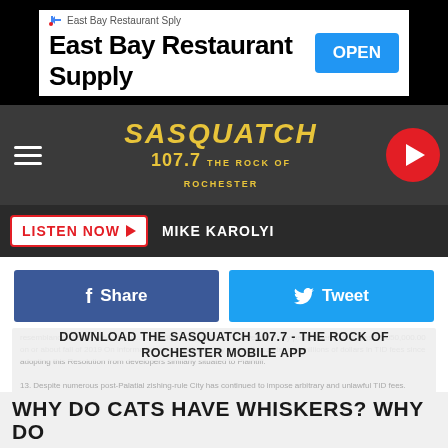[Figure (screenshot): Advertisement banner for East Bay Restaurant Supply with OPEN button]
[Figure (logo): Sasquatch 107.7 The Rock of Rochester radio station logo and navigation bar]
LISTEN NOW  MIKE KAROLYI
Share   Tweet
DOWNLOAD THE SASQUATCH 107.7 - THE ROCK OF ROCHESTER MOBILE APP
GET OUR FREE MOBILE APP
Also listen on:  amazon alexa
WHY DO CATS HAVE WHISKERS? WHY DO